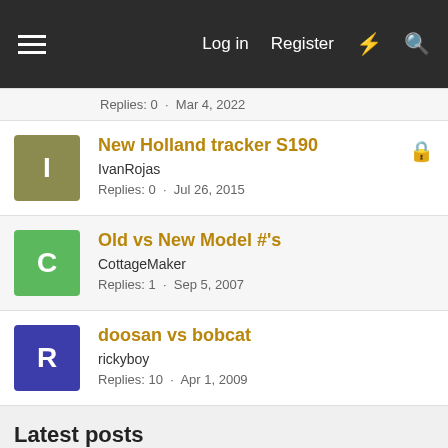Log in  Register
Replies: 0 · Mar 4, 2022
New Holland tracker S190
IvanRojas
Replies: 0 · Jul 26, 2015
Old vs New Model #'s
CottageMaker
Replies: 1 · Sep 5, 2007
doosan vs bobcat
rickyboy
Replies: 10 · Apr 1, 2009
Latest posts
Bobcat T550 aux controller location?
Latest: HumbleRoots · Today at 1:09 AM
General Bobcat Skidsteer Forum